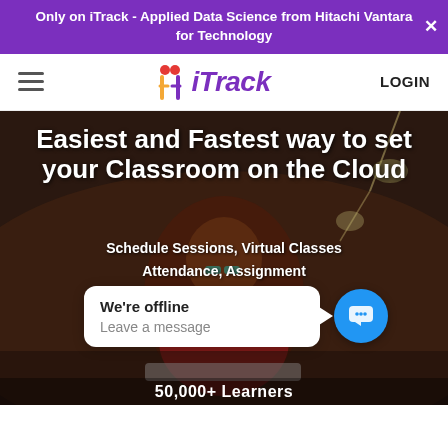Only on iTrack - Applied Data Science from Hitachi Vantara for Technology
[Figure (logo): iTrack logo with hamburger menu and LOGIN link in navigation bar]
Easiest and Fastest way to set your Classroom on the Cloud
Schedule Sessions, Virtual Classes Attendance, Assignment Discussion Forums Collect Fees and much more!
[Figure (screenshot): Chat widget showing 'We're offline' and 'Leave a message' with blue chat button]
50,000+ Learners